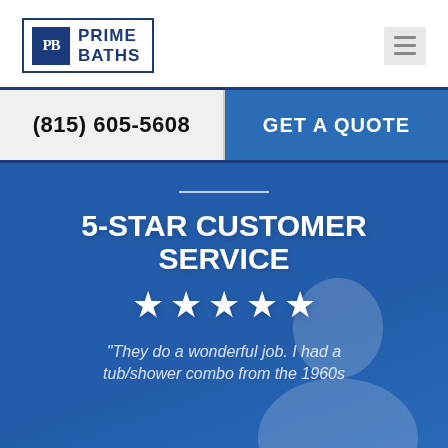[Figure (logo): Prime Baths logo with PB monogram in dark blue square border, company name in bold dark blue text]
[Figure (other): Hamburger menu icon (three horizontal lines) in a light gray rounded square button]
(815) 605-5608
GET A QUOTE
5-STAR CUSTOMER SERVICE
[Figure (other): Five white star icons in a row representing 5-star rating]
"They do a wonderful job. I had a tub/shower combo from the 1960s